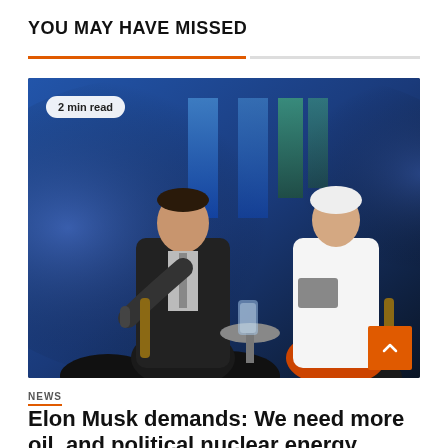YOU MAY HAVE MISSED
[Figure (photo): Two people seated on stage at a conference: a man in a dark suit speaking into a microphone, and an older woman with white hair in a white blouse and orange skirt, holding a book. Blue stage lighting in background. Badge on bottom-left reads '2 min read'.]
NEWS
Elon Musk demands: We need more oil, and political nuclear energy